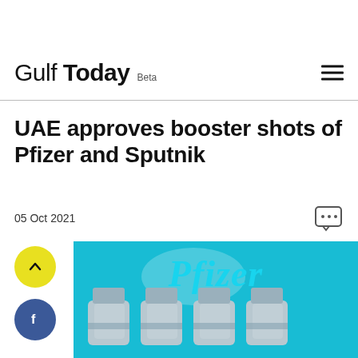Gulf Today Beta
UAE approves booster shots of Pfizer and Sputnik
05 Oct 2021
[Figure (photo): Pfizer vaccine vials on a teal/cyan background with the Pfizer logo visible]